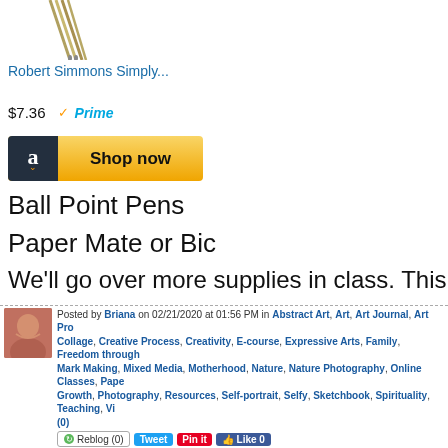[Figure (photo): Product image of artist brushes/pens from top]
Robert Simmons Simply...
$7.36  ✓Prime
[Figure (other): Amazon Shop now button]
Ball Point Pens
Paper Mate or Bic
We'll go over more supplies in class. This will certainly get yo
Thank you!
You and your creativity matter!
With Gratitude and Blessings,
Briana of OrangeSpiralArts.com
Posted by Briana on 02/21/2020 at 01:56 PM in Abstract Art, Art, Art Journal, Art Pro... Collage, Creative Process, Creativity, E-course, Expressive Arts, Family, Freedom through... Mark Making, Mixed Media, Motherhood, Nature, Nature Photography, Online Classes, Pape... Growth, Photography, Resources, Self-portrait, Selfy, Sketchbook, Spirituality, Teaching, Vi... (0)